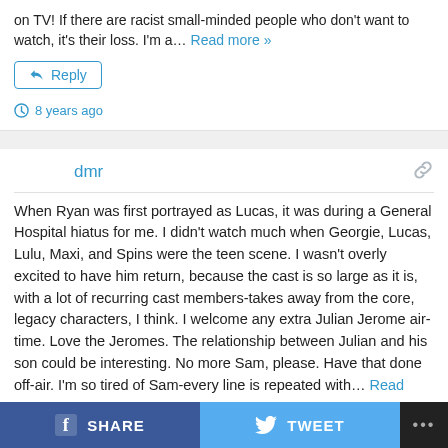on TV! If there are racist small-minded people who don't want to watch, it's their loss. I'm a… Read more »
Reply
8 years ago
dmr
When Ryan was first portrayed as Lucas, it was during a General Hospital hiatus for me. I didn't watch much when Georgie, Lucas, Lulu, Maxi, and Spins were the teen scene. I wasn't overly excited to have him return, because the cast is so large as it is, with a lot of recurring cast members-takes away from the core, legacy characters, I think. I welcome any extra Julian Jerome air-time. Love the Jeromes. The relationship between Julian and his son could be interesting. No more Sam, please. Have that done off-air. I'm so tired of Sam-every line is repeated with… Read more »
SHARE   TWEET   ...